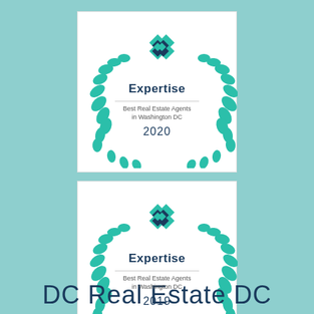[Figure (logo): Expertise award badge for Best Real Estate Agents in Washington DC, 2020. Contains the Expertise logo with teal diamond shapes, laurel wreath in teal, and year 2020.]
[Figure (logo): Expertise award badge for Best Real Estate Agents in Washington DC, 2019. Contains the Expertise logo with teal diamond shapes, laurel wreath in teal, and year 2019.]
DC Real Estate DC